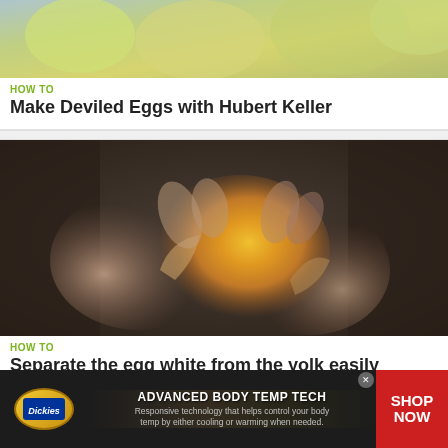[Figure (photo): Close-up photo of yellow chicks or egg-related food content, blurred background]
HOW TO
Make Deviled Eggs with Hubert Keller
[Figure (photo): Hands cracking an egg open showing the yolk, dark background, close-up photograph]
HOW TO
Separate the egg white from the yolk easily
[Figure (infographic): Dickies advertisement banner: ADVANCED BODY TEMP TECH - Responsive technology that helps control your body temp by either cooling or warming when needed. SHOP NOW button on red background.]